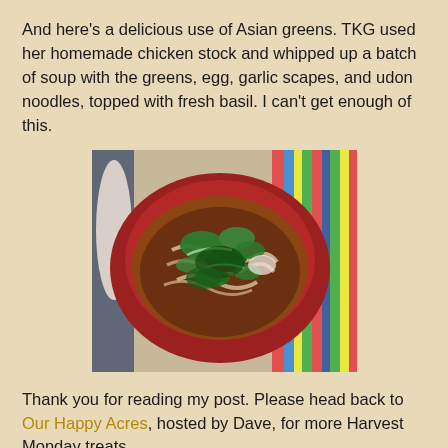And here's a delicious use of Asian greens. TKG used her homemade chicken stock and whipped up a batch of soup with the greens, egg, garlic scapes, and udon noodles, topped with fresh basil. I can't get enough of this.
[Figure (photo): A red bowl filled with Asian green soup containing udon noodles, egg, garlic scapes, and fresh basil, placed on a colorful striped tablecloth with a white spoon visible to the left.]
Thank you for reading my post. Please head back to Our Happy Acres, hosted by Dave, for more Harvest Monday treats.
Eight Gate Farm NH
Share